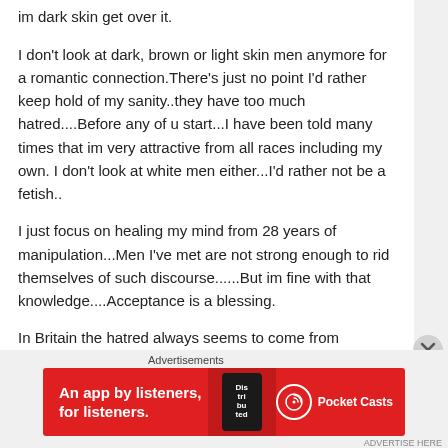im dark skin get over it.
I don't look at dark, brown or light skin men anymore for a romantic connection.There's just no point I'd rather keep hold of my sanity..they have too much hatred....Before any of u start...I have been told many times that im very attractive from all races including my own. I don't look at white men either...I'd rather not be a fetish..
I just focus on healing my mind from 28 years of manipulation...Men I've met are not strong enough to rid themselves of such discourse......But im fine with that knowledge....Acceptance is a blessing.
In Britain the hatred always seems to come from
Advertisements
[Figure (screenshot): Red advertisement banner for Pocket Casts app showing text 'An app by listeners, for listeners.' with a phone image and Pocket Casts logo]